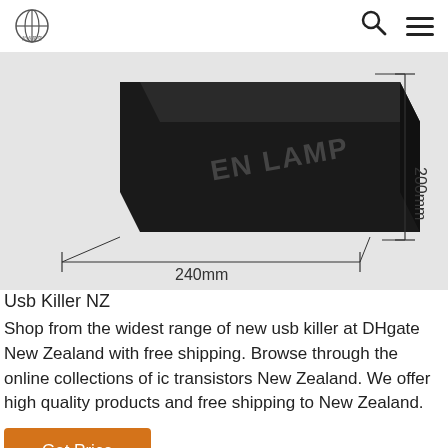[Figure (photo): A black rectangular device (labeled 'DEN LAMP') photographed at an angle on a light gray background, with dimension measurement lines showing 240mm width and 200mm height.]
Usb Killer NZ
Shop from the widest range of new usb killer at DHgate New Zealand with free shipping. Browse through the online collections of ic transistors New Zealand. We offer high quality products and free shipping to New Zealand.
Get Price